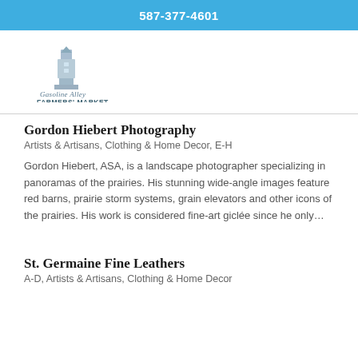587-377-4601
[Figure (logo): Gasoline Alley Farmers' Market logo with grain elevator tower graphic and stylized text]
Gordon Hiebert Photography
Artists & Artisans, Clothing & Home Decor, E-H
Gordon Hiebert, ASA, is a landscape photographer specializing in panoramas of the prairies. His stunning wide-angle images feature red barns, prairie storm systems, grain elevators and other icons of the prairies. His work is considered fine-art giclée since he only...
St. Germaine Fine Leathers
A-D, Artists & Artisans, Clothing & Home Decor